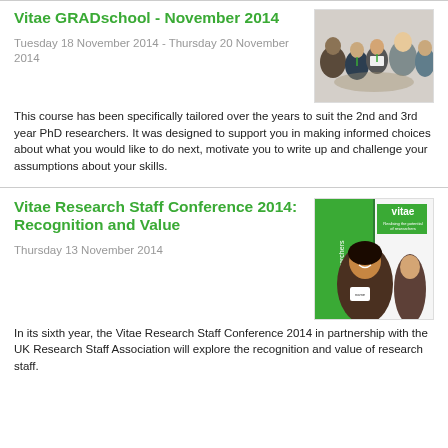Vitae GRADschool - November 2014
Tuesday 18 November 2014 - Thursday 20 November 2014
[Figure (photo): Group of people sitting in a circle having a discussion, conference setting]
This course has been specifically tailored over the years to suit the 2nd and 3rd year PhD researchers. It was designed to support you in making informed choices about what you would like to do next, motivate you to write up and challenge your assumptions about your skills.
Vitae Research Staff Conference 2014: Recognition and Value
Thursday 13 November 2014
[Figure (photo): Woman smiling at a Vitae conference event with a Vitae banner visible in background]
In its sixth year, the Vitae Research Staff Conference 2014 in partnership with the UK Research Staff Association will explore the recognition and value of research staff.